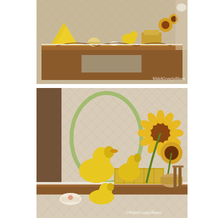[Figure (photo): Photo of a wooden dresser or mantelpiece with yellow decorative items including folded napkins, ceramic pieces, and small figurines arranged on top. Watermark reads 'WithAGratefulHeart'.]
[Figure (photo): Close-up photo of yellow ceramic swan figurines arranged on a wooden shelf with a stack of yellow-spined books, a basket, a teacup, and a bouquet of sunflowers. Wallpaper with lattice pattern visible in background. Watermark reads '©WithAGratefulHeart'.]
So many other things to see upstairs. I will show you some of them tomorrow. Then, down the stairs and into the dining room, we found more of my collection.